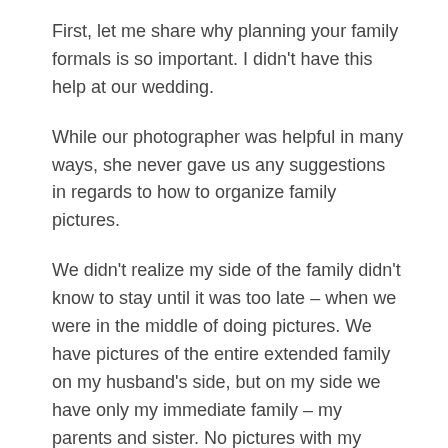First, let me share why planning your family formals is so important. I didn't have this help at our wedding.
While our photographer was helpful in many ways, she never gave us any suggestions in regards to how to organize family pictures.
We didn't realize my side of the family didn't know to stay until it was too late – when we were in the middle of doing pictures. We have pictures of the entire extended family on my husband's side, but on my side we have only my immediate family – my parents and sister. No pictures with my grandma. No pictures with my aunts, uncles, cousins – some of who I am pretty close with!